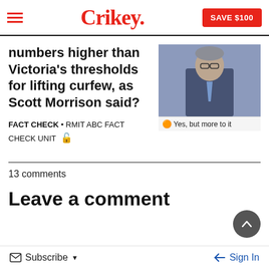Crikey. SAVE $100
numbers higher than Victoria's thresholds for lifting curfew, as Scott Morrison said?
[Figure (photo): Photo of Scott Morrison speaking, with caption 'Yes, but more to it']
FACT CHECK • RMIT ABC FACT CHECK UNIT 🔓
13 comments
Leave a comment
Subscribe  Sign In